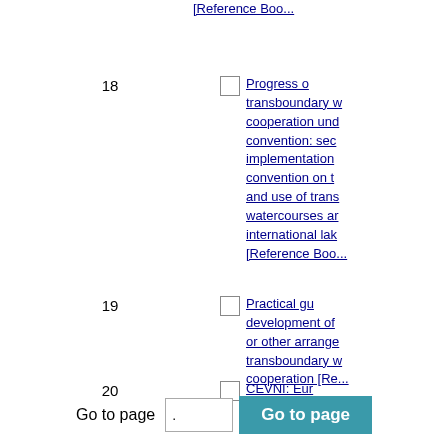[Reference Boo...
18  [checkbox] Progress o... transboundary w... cooperation und... convention: sec... implementation ... convention on t... and use of trans... watercourses ar... international lak... [Reference Boo...
19  [checkbox] Practical gu... development of ... or other arrange... transboundary w... cooperation [Re...
20  [checkbox] CEVNI: Eur... for inland water... [Reference Boo...
Go to page  [input]  Go to page